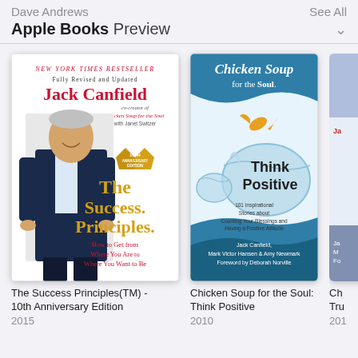Dave Andrews
See All
Apple Books Preview
[Figure (illustration): Book cover: The Success Principles (TM) - 10th Anniversary Edition by Jack Canfield]
The Success Principles(TM) - 10th Anniversary Edition
2015
[Figure (illustration): Book cover: Chicken Soup for the Soul: Think Positive by Jack Canfield, Mark Victor Hansen & Amy Newmark]
Chicken Soup for the Soul: Think Positive
2010
Ch
Tru
201